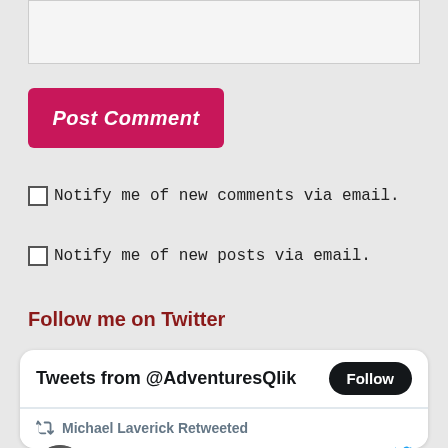[Figure (screenshot): Text input area (comment box) partially visible at top of page]
Post Comment
Notify me of new comments via email.
Notify me of new posts via email.
Follow me on Twitter
[Figure (screenshot): Twitter widget showing 'Tweets from @AdventuresQlik' with a Follow button, and a retweet by Michael Laverick from James Fisher @jamesafisher on Jan 12 about a great video explainer from the @Qlik team on query-based analytics versus an analytics...]